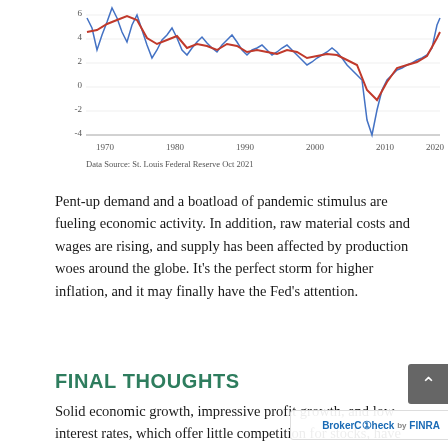[Figure (continuous-plot): Line chart showing two series (blue and red lines) over time from 1970 to 2020+. Y-axis ranges from -4 to 6. X-axis shows years 1970, 1980, 1990, 2000, 2010, 2020. Blue line is more volatile; red line is smoother. Data Source: St. Louis Federal Reserve Oct 2021.]
Data Source: St. Louis Federal Reserve Oct 2021
Pent-up demand and a boatload of pandemic stimulus are fueling economic activity. In addition, raw material costs and wages are rising, and supply has been affected by production woes around the globe. It’s the perfect storm for higher inflation, and it may finally have the Fed’s attention.
FINAL THOUGHTS
Solid economic growth, impressive profit growth, and low interest rates, which offer little competition for stocks, have sparked a rally for investors to ally...